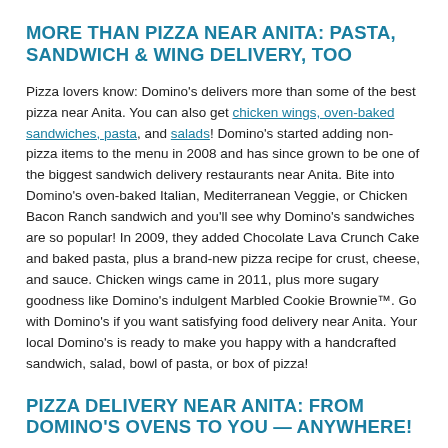MORE THAN PIZZA NEAR ANITA: PASTA, SANDWICH & WING DELIVERY, TOO
Pizza lovers know: Domino's delivers more than some of the best pizza near Anita. You can also get chicken wings, oven-baked sandwiches, pasta, and salads! Domino's started adding non-pizza items to the menu in 2008 and has since grown to be one of the biggest sandwich delivery restaurants near Anita. Bite into Domino's oven-baked Italian, Mediterranean Veggie, or Chicken Bacon Ranch sandwich and you'll see why Domino's sandwiches are so popular! In 2009, they added Chocolate Lava Crunch Cake and baked pasta, plus a brand-new pizza recipe for crust, cheese, and sauce. Chicken wings came in 2011, plus more sugary goodness like Domino's indulgent Marbled Cookie Brownie™. Go with Domino's if you want satisfying food delivery near Anita. Your local Domino's is ready to make you happy with a handcrafted sandwich, salad, bowl of pasta, or box of pizza!
PIZZA DELIVERY NEAR ANITA: FROM DOMINO'S OVENS TO YOU — ANYWHERE!